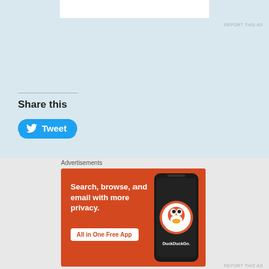[Figure (other): White advertisement box at top of page]
REPORT THIS AD
Share this
[Figure (other): Tweet button with Twitter bird icon]
Loading...
Related
Advertisements
[Figure (other): DuckDuckGo advertisement banner: Search, browse, and email with more privacy. All in One Free App. DuckDuckGo.]
REPORT THIS AD